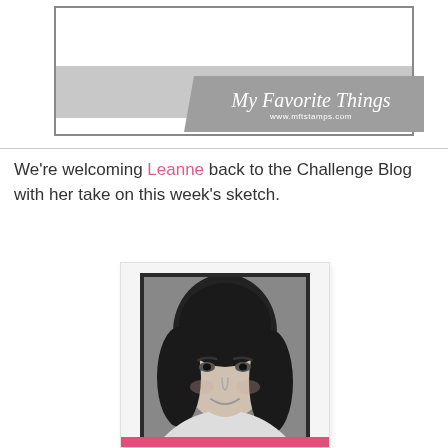[Figure (illustration): My Favorite Things stamp company logo banner with script text 'My Favorite Things' and URL www.mftstamps.com on a gray ribbon/banner graphic, overlaid on a sketch/diagram box with white and gray sections]
We're welcoming Leanne back to the Challenge Blog with her take on this week's sketch.
[Figure (photo): Black and white portrait photo of a woman with dark hair, smiling slightly, displayed in a dark frame with a pink strip at the bottom]